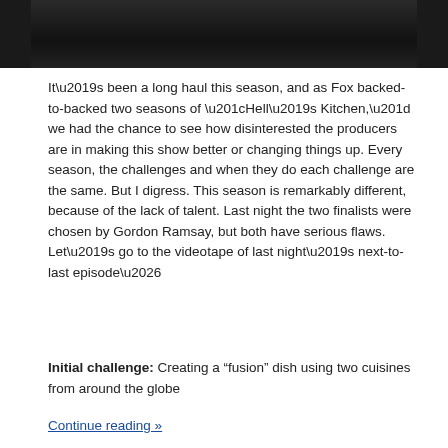[Figure (photo): Dark background photo strip at top of page, appearing to show a person in a kitchen or restaurant setting with glasses visible]
It’s been a long haul this season, and as Fox backed-to-backed two seasons of “Hell’s Kitchen,” we had the chance to see how disinterested the producers are in making this show better or changing things up. Every season, the challenges and when they do each challenge are the same. But I digress. This season is remarkably different, because of the lack of talent. Last night the two finalists were chosen by Gordon Ramsay, but both have serious flaws. Let’s go to the videotape of last night’s next-to-last episode…
Initial challenge: Creating a “fusion” dish using two cuisines from around the globe
Continue reading »